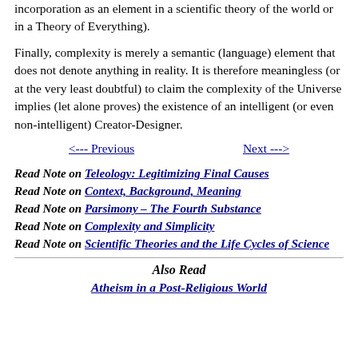incorporation as an element in a scientific theory of the world or in a Theory of Everything).
Finally, complexity is merely a semantic (language) element that does not denote anything in reality. It is therefore meaningless (or at the very least doubtful) to claim the complexity of the Universe implies (let alone proves) the existence of an intelligent (or even non-intelligent) Creator-Designer.
<--- Previous    Next --->
Read Note on Teleology: Legitimizing Final Causes
Read Note on Context, Background, Meaning
Read Note on Parsimony – The Fourth Substance
Read Note on Complexity and Simplicity
Read Note on Scientific Theories and the Life Cycles of Science
Also Read
Atheism in a Post-Religious World